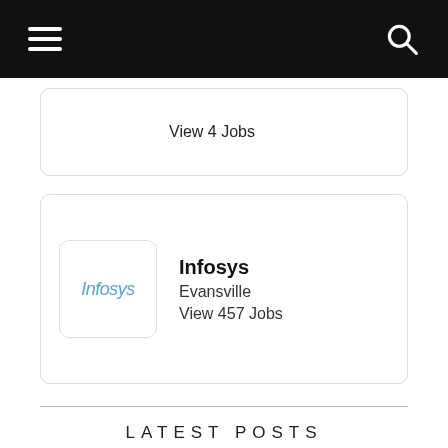Navigation bar with hamburger menu and search icon
View 4 Jobs
Infosys
Evansville
View 457 Jobs
LATEST POSTS
Canadian Startup News
Direct-C closes $3.9 million Series A from Henkel